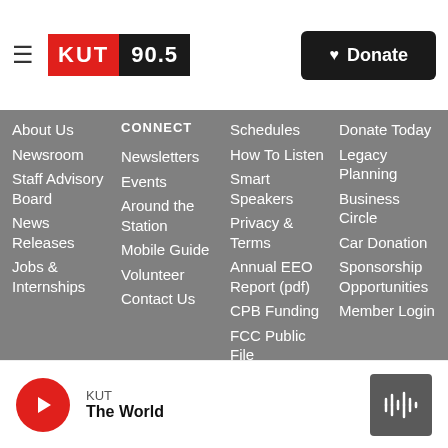KUT 90.5 — Donate
About Us
Newsroom
Staff Advisory Board
News Releases
Jobs & Internships
CONNECT
Newsletters
Events
Around the Station
Mobile Guide
Volunteer
Contact Us
Schedules
How To Listen
Smart Speakers
Privacy & Terms
Annual EEO Report (pdf)
CPB Funding
FCC Public File
Donate Today
Legacy Planning
Business Circle
Car Donation
Sponsorship Opportunities
Member Login
KUT — The World